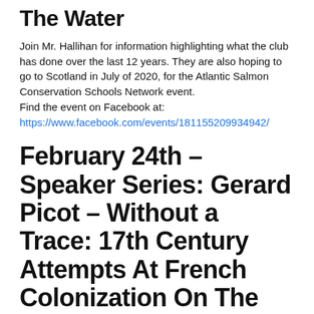The Water
Join Mr. Hallihan for information highlighting what the club has done over the last 12 years. They are also hoping to go to Scotland in July of 2020, for the Atlantic Salmon Conservation Schools Network event.
Find the event on Facebook at:
https://www.facebook.com/events/181155209934942/
February 24th – Speaker Series: Gerard Picot – Without a Trace: 17th Century Attempts At French Colonization On The Miramichi
Learn about 17th century attempts at French colonization on the Miramichi. Find the event on Facebook at:
https://www.facebook.com/events/[...]